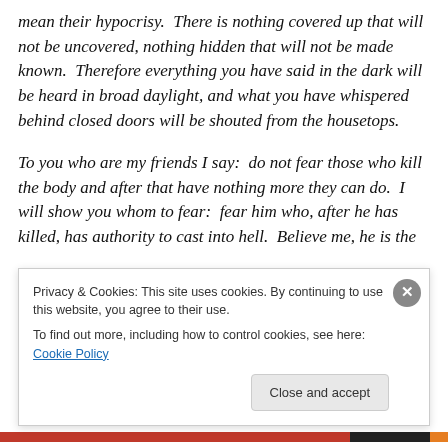mean their hypocrisy.  There is nothing covered up that will not be uncovered, nothing hidden that will not be made known.  Therefore everything you have said in the dark will be heard in broad daylight, and what you have whispered behind closed doors will be shouted from the housetops.

To you who are my friends I say:  do not fear those who kill the body and after that have nothing more they can do.  I will show you whom to fear:  fear him who, after he has killed, has authority to cast into hell.  Believe me, he is the
Privacy & Cookies: This site uses cookies. By continuing to use this website, you agree to their use.
To find out more, including how to control cookies, see here: Cookie Policy